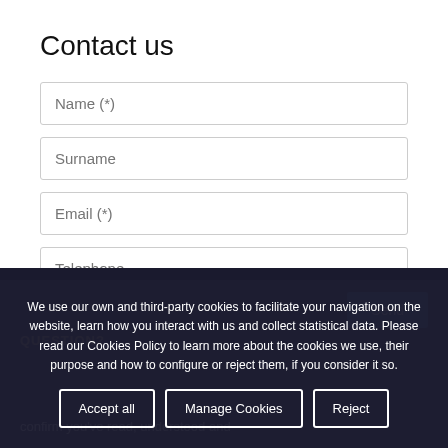Contact us
Name (*)
Surname
Email (*)
Telephone
Interested in  68769
QUESTION?
We use our own and third-party cookies to facilitate your navigation on the website, learn how you interact with us and collect statistical data. Please read our Cookies Policy to learn more about the cookies we use, their purpose and how to configure or reject them, if you consider it so.
Accept all
Manage Cookies
Reject
confirm you've read, understood and